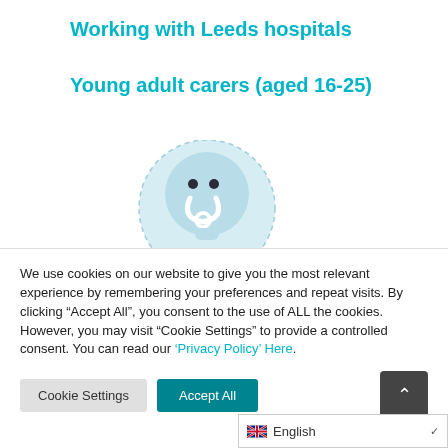Working with Leeds hospitals
Young adult carers (aged 16-25)
[Figure (illustration): Stylized illustration of a person/doctor character with a dashed circular border on a light blue background, showing a stethoscope icon]
We use cookies on our website to give you the most relevant experience by remembering your preferences and repeat visits. By clicking “Accept All”, you consent to the use of ALL the cookies. However, you may visit "Cookie Settings" to provide a controlled consent. You can read our ‘Privacy Policy’ Here.
Cookie Settings
Accept All
English